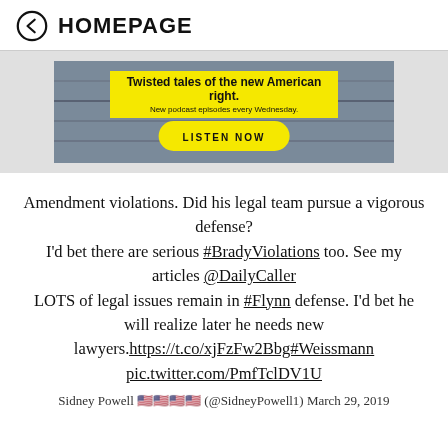HOMEPAGE
[Figure (infographic): Advertisement banner with dark pixel/noise background. Yellow box with bold text 'Twisted tales of the new American right.' and subtitle 'New podcast episodes every Wednesday.' Yellow oval button with 'LISTEN NOW'.]
Amendment violations. Did his legal team pursue a vigorous defense? I'd bet there are serious #BradyViolations too. See my articles @DailyCaller LOTS of legal issues remain in #Flynn defense. I'd bet he will realize later he needs new lawyers.https://t.co/xjFzFw2Bbg#Weissmann pic.twitter.com/PmfTclDV1U
Sidney Powell 🇺🇸🇺🇸🇺🇸🇺🇸 (@SidneyPowell1) March 29, 2019